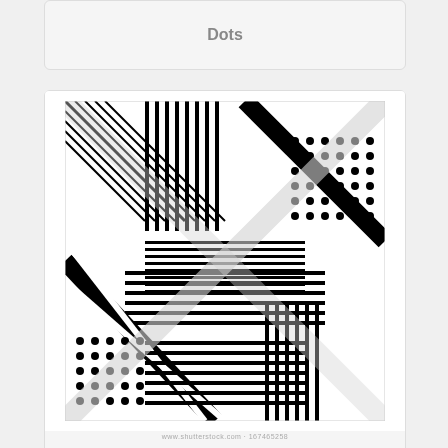Dots
[Figure (illustration): Black and white geometric pattern with stripes, dots, and diagonal elements forming a complex interlocking design. Watermark reads: www.shutterstock.com 167465258]
Black and White
[Figure (illustration): Partial view of a blue and cyan colored pattern with swirling brush-stroke or feather-like lines]